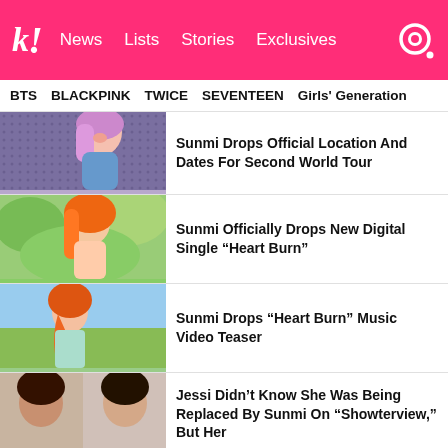k! News Lists Stories Exclusives
BTS  BLACKPINK  TWICE  SEVENTEEN  Girls' Generation
[Figure (photo): Woman with pink/purple hair performing on stage]
Sunmi Drops Official Location And Dates For Second World Tour
[Figure (photo): Woman with orange wavy hair outdoors]
Sunmi Officially Drops New Digital Single “Heart Burn”
[Figure (photo): Woman with orange braided hair in floral dress outdoors]
Sunmi Drops “Heart Burn” Music Video Teaser
[Figure (photo): Two women side by side, close-up portraits]
Jessi Didn’t Know She Was Being Replaced By Sunmi On “Showterview,” But Her